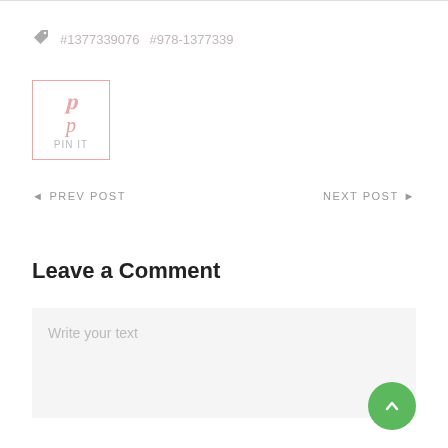#1377339076  #978-1377339
[Figure (screenshot): Pinterest share button with pink 'p' icon and border]
◄ PREV POST
NEXT POST ►
Leave a Comment
Write your text